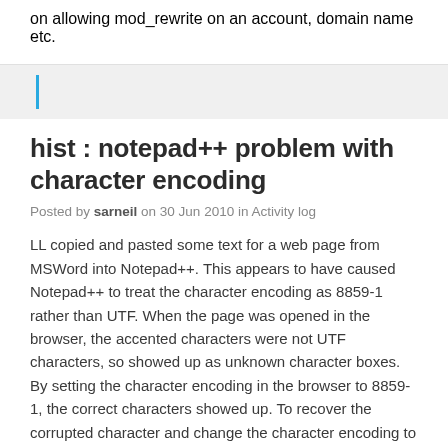on allowing mod_rewrite on an account, domain name etc.
hist : notepad++ problem with character encoding
Posted by sarneil on 30 Jun 2010 in Activity log
LL copied and pasted some text for a web page from MSWord into Notepad++. This appears to have caused Notepad++ to treat the character encoding as 8859-1 rather than UTF. When the page was opened in the browser, the accented characters were not UTF characters, so showed up as unknown character boxes. By setting the character encoding in the browser to 8859-1, the correct characters showed up. To recover the corrupted character and change the character encoding to UTF-8 in Notepad++:
- open the file in Notepad++